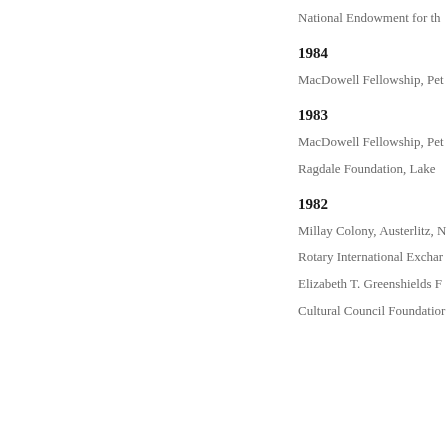National Endowment for th
1984
MacDowell Fellowship, Pet
1983
MacDowell Fellowship, Pet
Ragdale Foundation, Lake
1982
Millay Colony, Austerlitz, N
Rotary International Exchar
Elizabeth T. Greenshields F
Cultural Council Foundatior